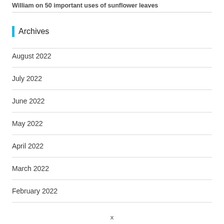William on 50 important uses of sunflower leaves
Archives
August 2022
July 2022
June 2022
May 2022
April 2022
March 2022
February 2022
x